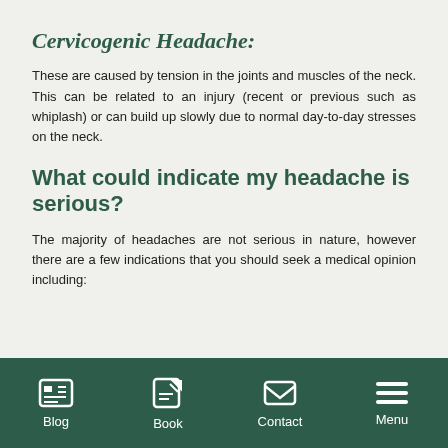Cervicogenic Headache:
These are caused by tension in the joints and muscles of the neck. This can be related to an injury (recent or previous such as whiplash) or can build up slowly due to normal day-to-day stresses on the neck.
What could indicate my headache is serious?
The majority of headaches are not serious in nature, however there are a few indications that you should seek a medical opinion including:
Blog  Book  Contact  Menu